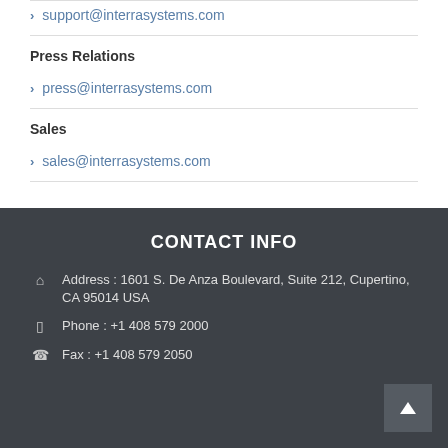support@interrasystems.com
Press Relations
press@interrasystems.com
Sales
sales@interrasystems.com
CONTACT INFO
Address : 1601 S. De Anza Boulevard, Suite 212, Cupertino, CA 95014 USA
Phone : +1 408 579 2000
Fax : +1 408 579 2050